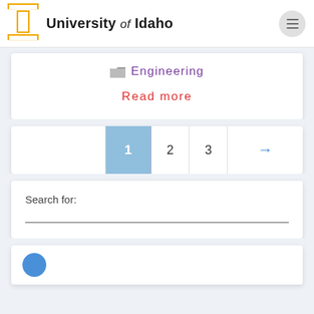[Figure (logo): University of Idaho logo with golden block letter I and text 'University of Idaho']
Engineering
Read more
1  2  3  →
Search for:
[Figure (other): Partial blue circle visible at bottom of page]